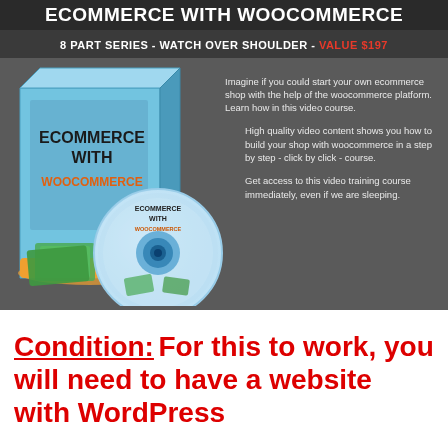ECOMMERCE WITH WOOCOMMERCE
8 PART SERIES - WATCH OVER SHOULDER - VALUE $197
[Figure (illustration): Product box and DVD disc illustration for Ecommerce with WooCommerce video course, showing a box with money/cash imagery and a DVD disc beside it]
Imagine if you could start your own ecommerce shop with the help of the woocommerce platform. Learn how in this video course.
High quality video content shows you how to build your shop with woocommerce in a step by step - click by click - course.
Get access to this video training course immediately, even if we are sleeping.
Condition: For this to work, you will need to have a website with WordPress